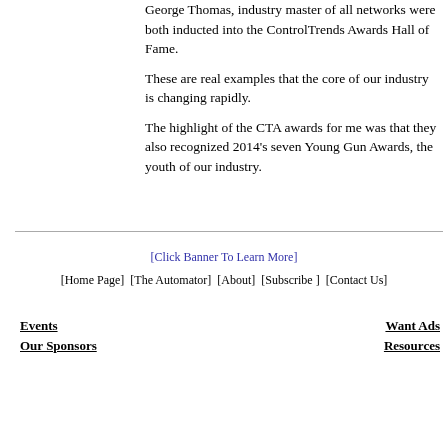George Thomas, industry master of all networks were both inducted into the ControlTrends Awards Hall of Fame.
These are real examples that the core of our industry is changing rapidly.
The highlight of the CTA awards for me was that they also recognized 2014's seven Young Gun Awards, the youth of our industry.
[Click Banner To Learn More]
[Home Page]  [The Automator]  [About]  [Subscribe ]  [Contact Us]
Events   Want Ads   Our Sponsors   Resources